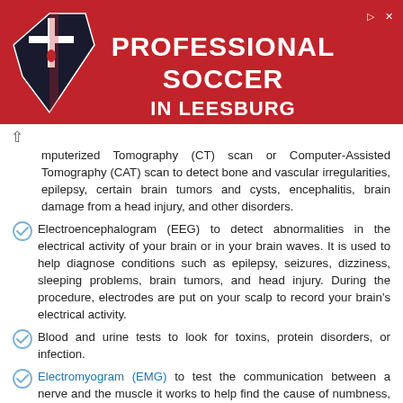[Figure (illustration): Red advertisement banner for Loudoun Soccer with shield logo and text 'PROFESSIONAL SOCCER IN LEESBURG']
mputerized Tomography (CT) scan or Computer-Assisted Tomography (CAT) scan to detect bone and vascular irregularities, epilepsy, certain brain tumors and cysts, encephalitis, brain damage from a head injury, and other disorders.
Electroencephalogram (EEG) to detect abnormalities in the electrical activity of your brain or in your brain waves. It is used to help diagnose conditions such as epilepsy, seizures, dizziness, sleeping problems, brain tumors, and head injury. During the procedure, electrodes are put on your scalp to record your brain's electrical activity.
Blood and urine tests to look for toxins, protein disorders, or infection.
Electromyogram (EMG) to test the communication between a nerve and the muscle it works to help find the cause of numbness, weakness, and pain. It involves inserting small